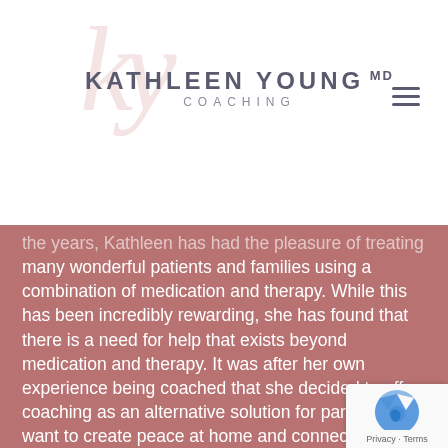KATHLEEN YOUNG MD COACHING
$0.00 0
the years, Kathleen has had the pleasure of treating many wonderful patients and families using a combination of medication and therapy. While this has been incredibly rewarding, she has found that there is a need for help that exists beyond medication and therapy. It was after her own experience being coached that she decided to offer coaching as an alternative solution for parents who want to create peace at home and connection in their families.